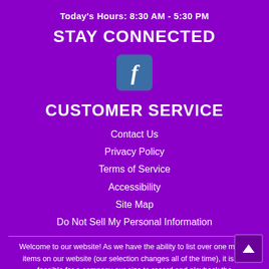Today's Hours: 8:30 AM - 5:30 PM
STAY CONNECTED
[Figure (logo): Facebook icon - teal/blue rounded square with white 'f' letter]
CUSTOMER SERVICE
Contact Us
Privacy Policy
Terms of Service
Accessibility
Site Map
Do Not Sell My Personal Information
Welcome to our website! As we have the ability to list over one million items on our website (our selection changes all of the time), it is not feasible for a company our size to record and playback the descriptions on every item on our website. However, if you have a disability we are here to help you. Please call our disability services phone line at 512-398-2825 during regular business hours and one of our kind and friendly personal